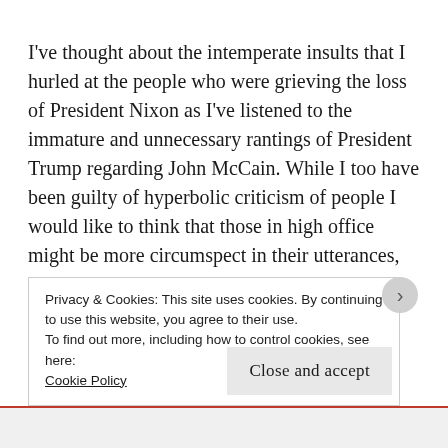I've thought about the intemperate insults that I hurled at the people who were grieving the loss of President Nixon as I've listened to the immature and unnecessary rantings of President Trump regarding John McCain. While I too have been guilty of hyperbolic criticism of people I would like to think that those in high office might be more circumspect in their utterances, particularly once a person is dead. At this point there is little reason for Trump to continue to stew over the
Privacy & Cookies: This site uses cookies. By continuing to use this website, you agree to their use.
To find out more, including how to control cookies, see here:
Cookie Policy
Close and accept